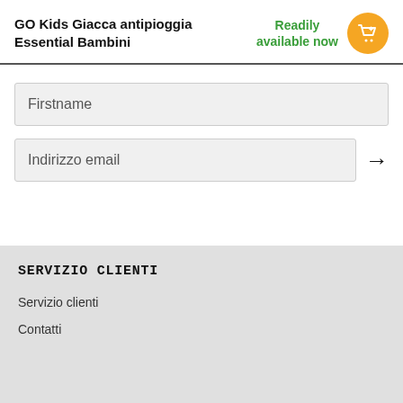GO Kids Giacca antipioggia Essential Bambini
Readily available now
Firstname
Indirizzo email
SERVIZIO CLIENTI
Servizio clienti
Contatti